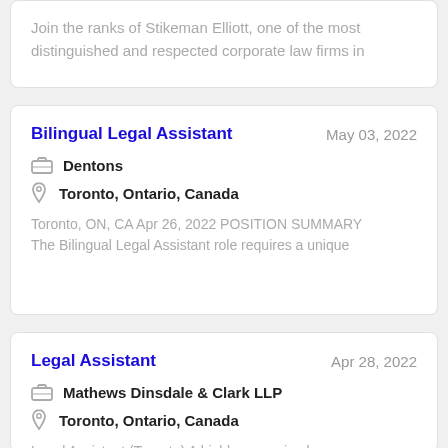Join the ranks of Stikeman Elliott, one of the most distinguished and respected corporate law firms in
Bilingual Legal Assistant
May 03, 2022
Dentons
Toronto, Ontario, Canada
Toronto, ON, CA Apr 26, 2022 POSITION SUMMARY The Bilingual Legal Assistant role requires a unique
Legal Assistant
Apr 28, 2022
Mathews Dinsdale & Clark LLP
Toronto, Ontario, Canada
Legal Assistant (Toronto) A highly recognized